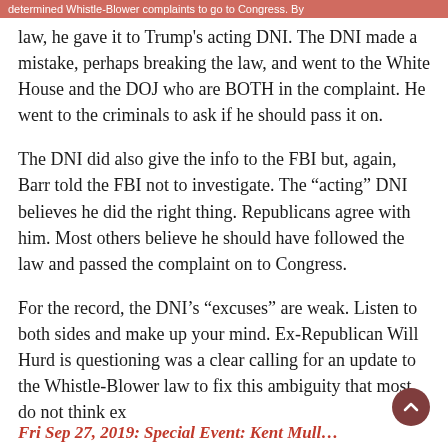determined Whistle-Blower complaints to go to Congress. By
law, he gave it to Trump's acting DNI. The DNI made a mistake, perhaps breaking the law, and went to the White House and the DOJ who are BOTH in the complaint. He went to the criminals to ask if he should pass it on.
The DNI did also give the info to the FBI but, again, Barr told the FBI not to investigate. The “acting” DNI believes he did the right thing. Republicans agree with him. Most others believe he should have followed the law and passed the complaint on to Congress.
For the record, the DNI’s “excuses” are weak. Listen to both sides and make up your mind. Ex-Republican Will Hurd is questioning was a clear calling for an update to the Whistle-Blower law to fix this ambiguity that most do not think ex
Fri Sep 27, 2019: Special Event: Kent Mull…